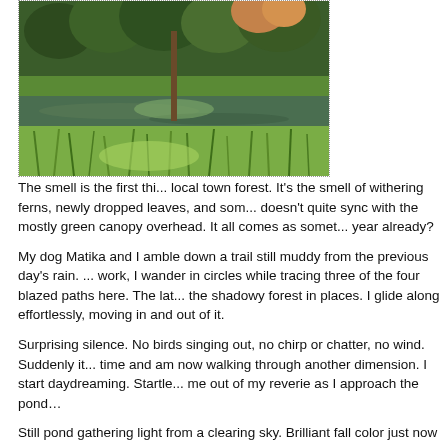[Figure (photo): Forest scene with pond reflecting green trees and tall grasses in foreground, some autumn color visible in upper right trees, taken in a town forest setting.]
The smell is the first thi... local town forest. It's the smell of withering ferns, newly dropped leaves, and som... doesn't quite sync with the mostly green canopy overhead. It all comes as somet... year already?
My dog Matika and I amble down a trail still muddy from the previous day's rain. ... work, I wander in circles while tracing three of the four blazed paths here. The lat... the shadowy forest in places. I glide along effortlessly, moving in and out of it.
Surprising silence. No birds singing out, no chirp or chatter, no wind. Suddenly it... time and am now walking through another dimension. I start daydreaming. Startle... me out of my reverie as I approach the pond…
Still pond gathering light from a clearing sky. Brilliant fall color just now coming ou... going on here – a slow and subtle end to all growth. Too soon it seems, greenery... months at these latitudes. And yet it's all right on schedule. Nature adheres religi...
Climbing a gentle rise away from the pond, I break a sweat despite the cool air. I'...